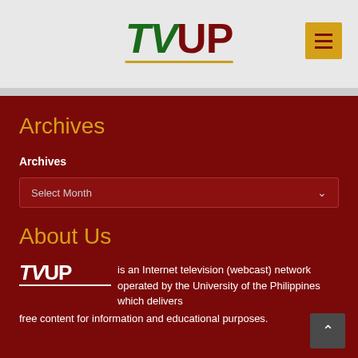TVUP
Archives
Archives
Select Month
About Us
TVUP is an Internet television (webcast) network operated by the University of the Philippines which delivers free content for information and educational purposes.